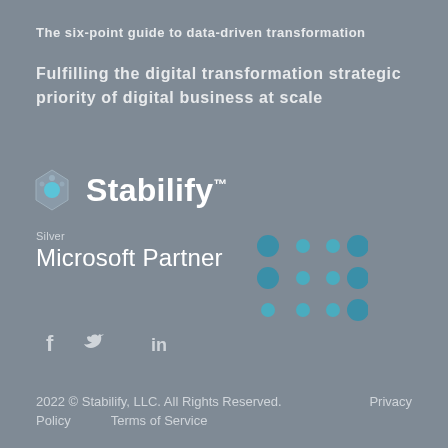The six-point guide to data-driven transformation
Fulfilling the digital transformation strategic priority of digital business at scale
[Figure (logo): Stabilify logo with geometric diamond/circle icon and wordmark 'Stabilify™']
[Figure (logo): Silver Microsoft Partner logo with a 3x3 grid of circles in teal/dark teal colors]
[Figure (illustration): Social media icons: Facebook (f), Twitter (bird), LinkedIn (in)]
2022 © Stabilify, LLC. All Rights Reserved.    Privacy Policy    Terms of Service